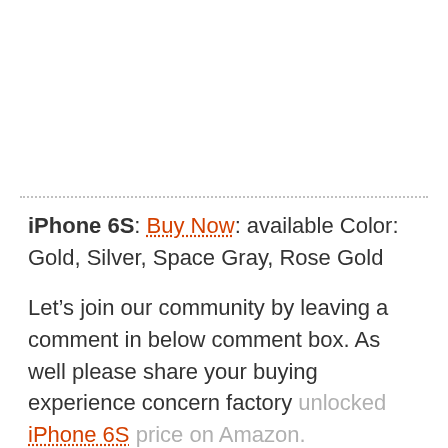iPhone 6S: Buy Now: available Color: Gold, Silver, Space Gray, Rose Gold
Let’s join our community by leaving a comment in below comment box. As well please share your buying experience concern factory unlocked iPhone 6S price on Amazon.